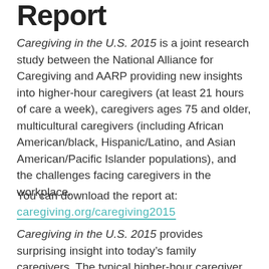Report
Caregiving in the U.S. 2015 is a joint research study between the National Alliance for Caregiving and AARP providing new insights into higher-hour caregivers (at least 21 hours of care a week), caregivers ages 75 and older, multicultural caregivers (including African American/black, Hispanic/Latino, and Asian American/Pacific Islander populations), and the challenges facing caregivers in the workplace.
You can download the report at:
caregiving.org/caregiving2015
Caregiving in the U.S. 2015 provides surprising insight into today’s family caregivers. The typical higher-hour caregiver (who provides unpaid care for at least 21 hours a week) has been caregiving for an average of 5-1/2 years and expects to continue care for another 5 years. Nearly half of these higher-hour caregivers